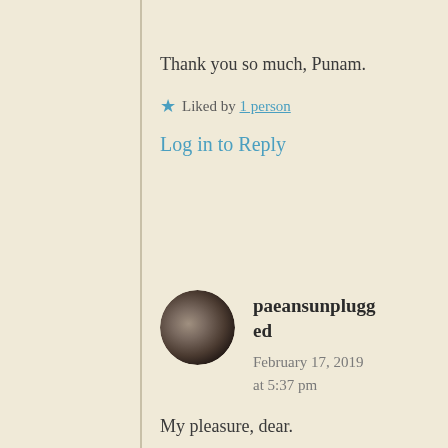Thank you so much, Punam.
★ Liked by 1 person
Log in to Reply
paeansunplugged
February 17, 2019 at 5:37 pm
My pleasure, dear.
★ Liked by 1 person